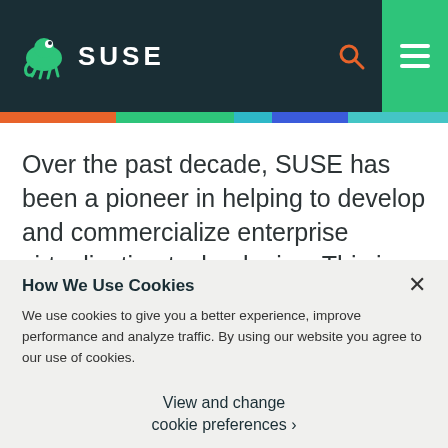SUSE
Over the past decade, SUSE has been a pioneer in helping to develop and commercialize enterprise virtualization technologies. This is the first post in a
How We Use Cookies
We use cookies to give you a better experience, improve performance and analyze traffic. By using our website you agree to our use of cookies.
View and change cookie preferences ›